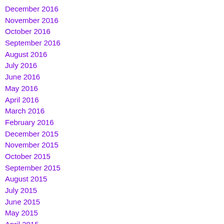December 2016
November 2016
October 2016
September 2016
August 2016
July 2016
June 2016
May 2016
April 2016
March 2016
February 2016
December 2015
November 2015
October 2015
September 2015
August 2015
July 2015
June 2015
May 2015
April 2015
March 2015